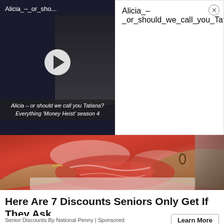[Figure (screenshot): Video thumbnail showing a dark-toned scene with title 'Alicia_-_or_sho...' and a circular play button, subtitle text 'Alicia – or should we call you Tatiana? Everything Money Heist season 4']
Alicia_–_or_should_we_call_you_Tatiana_Everything_'Money_Heist'_season_4_1080p
[Figure (photo): Photograph of hands holding raw red meat cuts on a white surface, butcher display]
Here Are 7 Discounts Seniors Only Get If They Ask
Senior Discounts By National Penny | Sponsored